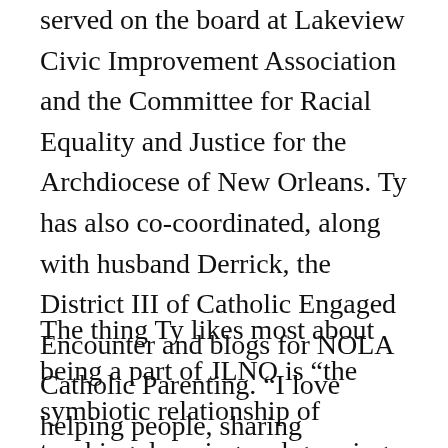served on the board at Lakeview Civic Improvement Association and the Committee for Racial Equality and Justice for the Archdiocese of New Orleans. Ty has also co-coordinated, along with husband Derrick, the District III of Catholic Engaged Encounter and blogs for NOLA Catholic Parenting. “I love helping people, sharing information, empowering and encouraging them to attain their goals.”
The thing Ty likes most about being a part of JLNO is “the symbiotic relationship of teaching, learning and growing. One of my first placements was on the Judgement Call